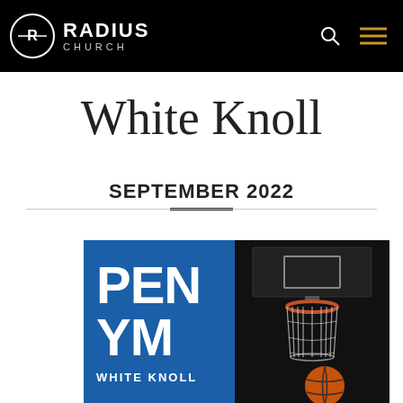RADIUS CHURCH
White Knoll
SEPTEMBER 2022
[Figure (photo): Open Gym event poster for White Knoll location showing basketball hoop photo on right and blue background with text 'OPEN GYM WHITE KNOLL' on left]